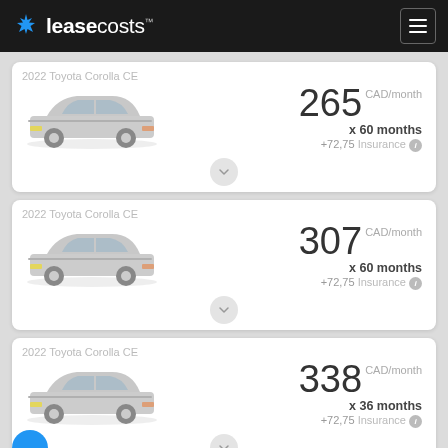leasecosts™
2022 Toyota Corolla CE — 265 CAD/month x 60 months +72,75 Insurance
2022 Toyota Corolla CE — 307 CAD/month x 60 months +72,75 Insurance
2022 Toyota Corolla CE — 338 CAD/month x 36 months +72,75 Insurance